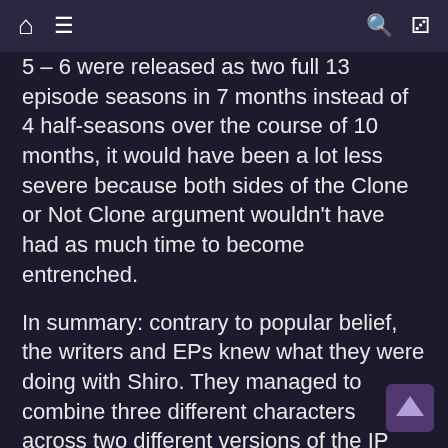Home | Menu | Search | Shuffle
5 – 6 were released as two full 13 episode seasons in 7 months instead of 4 half-seasons over the course of 10 months, it would have been a lot less severe because both sides of the Clone or Not Clone argument wouldn't have had as much time to become entrenched.
In summary: contrary to popular belief, the writers and EPs knew what they were doing with Shiro. They managed to combine three different characters across two different versions of the IP into a single character with an arc that mirrored the story of the DOTU character that he was based on. His character development in relation to his PTSD was meant to reject the stigma that people with mental illnesses are somehow weak for needing help and support from the people around them.